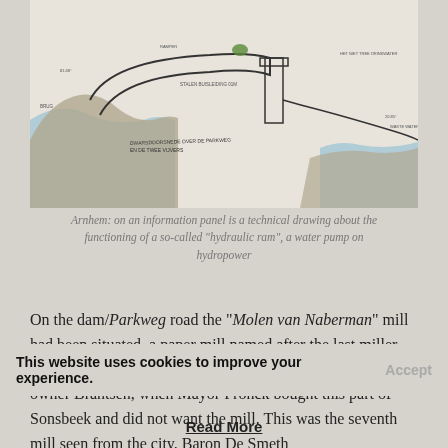[Figure (illustration): Technical drawing about the functioning of a hydraulic ram water pump on hydropower, shown as a cross-section diagram with blue water areas, annotated with Dutch labels including 'DWARSDOORSNIEDE OVER DE PARKWEG EN DE TWEE VIJVERS']
Arnhem: on an information panel is a technical drawing about the functioning of a so-called "hydraulic ram", a water pump on hydropower
On the dam/Parkweg road the "Molen van Naberman" mill had been situated, a paper mill named after the last miller, Gerrit Naberman. In 1776 it was demolished by the then owner Brantsen, when Mayor Pronck bought this part of Sonsbeek and did not want the mill. This was the seventh mill seen from the city. Baron De Smeth
This website uses cookies to improve your experience.  Accept
Read More